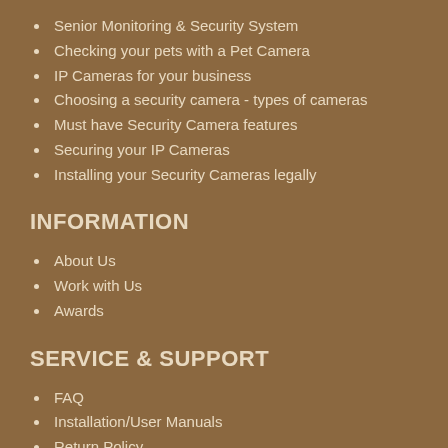Senior Monitoring & Security System
Checking your pets with a Pet Camera
IP Cameras for your business
Choosing a security camera - types of cameras
Must have Security Camera features
Securing your IP Cameras
Installing your Security Cameras legally
INFORMATION
About Us
Work with Us
Awards
SERVICE & SUPPORT
FAQ
Installation/User Manuals
Return Policy
Track your Order